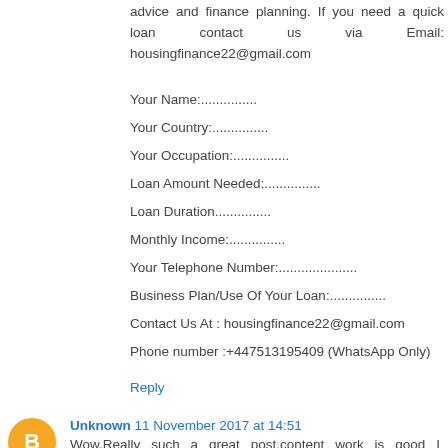advice and finance planning. If you need a quick loan contact us via Email: housingfinance22@gmail.com
Your Name:...............
Your Country:...............
Your Occupation:...............
Loan Amount Needed:...............
Loan Duration...............
Monthly Income:...............
Your Telephone Number:...............
Business Plan/Use Of Your Loan:...............
Contact Us At : housingfinance22@gmail.com
Phone number :+447513195409 (WhatsApp Only)
Reply
Unknown 11 November 2017 at 14:51
Wow.Really such a great post.content work is good I aprreciate your post .For more queries related to Microsoft Outlook, you can visit these sites for more info.outlook customer care